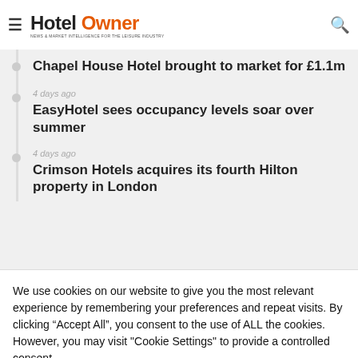Hotel Owner — NEWS & MARKET INTELLIGENCE FOR THE LEISURE INDUSTRY
Chapel House Hotel brought to market for £1.1m
4 days ago — EasyHotel sees occupancy levels soar over summer
4 days ago — Crimson Hotels acquires its fourth Hilton property in London
LATEST UPDATED
We use cookies on our website to give you the most relevant experience by remembering your preferences and repeat visits. By clicking "Accept All", you consent to the use of ALL the cookies. However, you may visit "Cookie Settings" to provide a controlled consent.